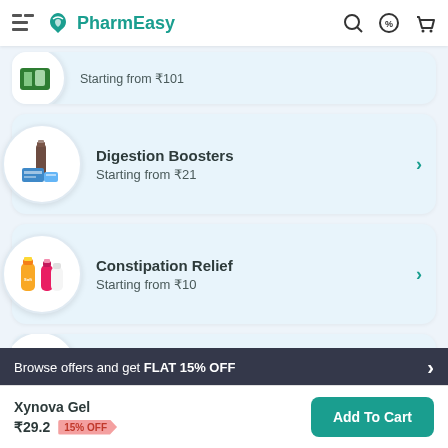PharmEasy
Starting from ₹101
Digestion Boosters
Starting from ₹21
Constipation Relief
Starting from ₹10
Antiseptic Topical
Browse offers and get FLAT 15% OFF
Xynova Gel
₹29.2  15% OFF